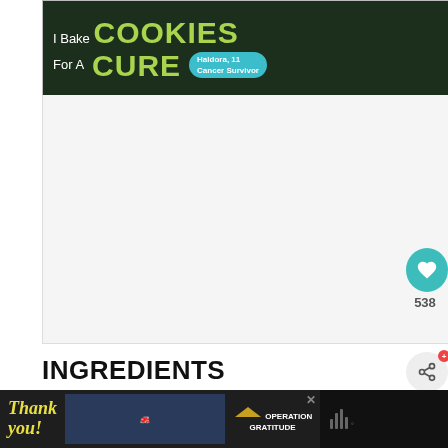[Figure (other): Top banner advertisement for 'I Bake Cookies For A Cure' charity campaign with green and teal colors, showing a child cancer survivor named Haldora, age 11]
[Figure (other): Gray blank content area with waveform/audio icon at bottom right]
INGREDIENTS
4 cups vanilla ice cream This does not have to be exact. Just get it close
1 11.5 oz can frozen grape juice concentrate
1 cup milk Add more as needed if milkshake is too thick
Whipped cream optional
[Figure (other): Bottom banner advertisement: Operation Gratitude thank you message with firefighters photo]
[Figure (other): Heart/favorite button showing 538 saves, share button, and multiplier buttons 1x 2x 3x for ingredient scaling]